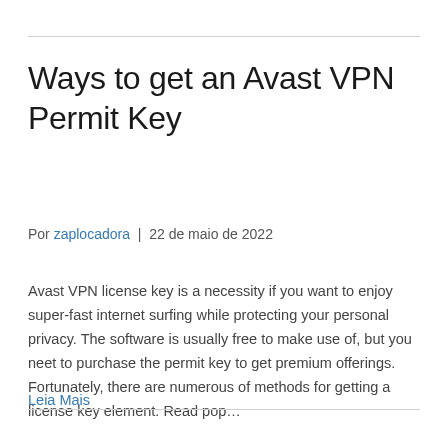Ways to get an Avast VPN Permit Key
Por zaplocadora | 22 de maio de 2022
Avast VPN license key is a necessity if you want to enjoy super-fast internet surfing while protecting your personal privacy. The software is usually free to make use of, but you neet to purchase the permit key to get premium offerings. Fortunately, there are numerous of methods for getting a license key element. Read pop…
Leia Mais